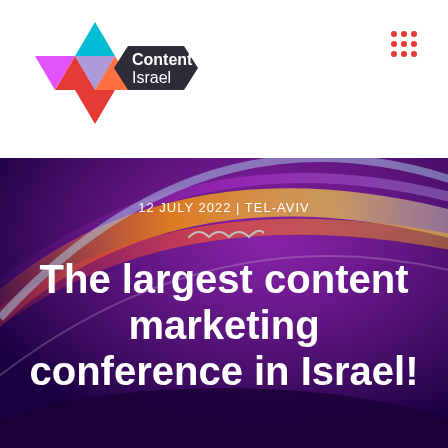[Figure (logo): Content Israel logo with Star of David shape in pink/teal/orange and dark badge with white text]
12 JULY 2022 | TEL-AVIV
The largest content marketing conference in Israel!